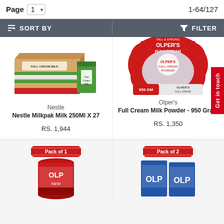Page 1    1-64/127
SORT BY   FILTER
[Figure (photo): Nestle Milkpak Milk 250Ml X 27 - cardboard box with small green milk carton]
Nestle
Nestle Milkpak Milk 250Ml X 27
RS. 1,944
[Figure (photo): Olper's Full Cream Milk Powder - 950 Gram red bag]
Olper's
Full Cream Milk Powder - 950 Gram
RS. 1,350
[Figure (photo): Pack of 1 - Olpers red tin container (partially visible)]
[Figure (photo): Pack of 2 - Olpers product boxes (partially visible)]